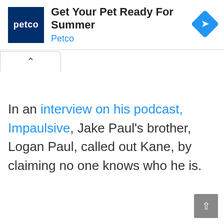[Figure (screenshot): Petco advertisement banner with logo, title 'Get Your Pet Ready For Summer', subtitle 'Petco', and a blue diamond navigation icon]
In an interview on his podcast, Impaulsive, Jake Paul's brother, Logan Paul, called out Kane, by claiming no one knows who he is.